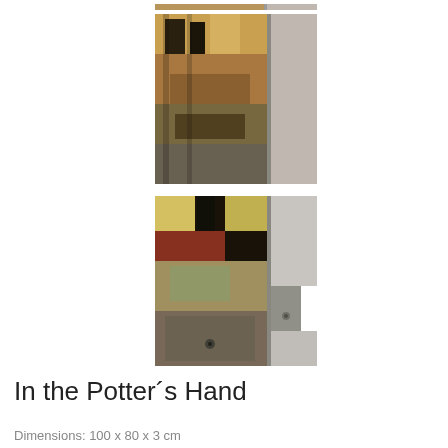[Figure (photo): Partial view of a framed abstract painting showing warm browns, oranges, yellows and dark marks, with a silver/grey frame visible on the right side, against a grey wall background.]
[Figure (photo): Close-up of a framed abstract painting showing textured layers of yellow, gold, red, brown, orange and dark areas, with a grey/silver metal frame on the right side.]
In the Potter´s Hand
Dimensions: 100 x 80 x 3 cm